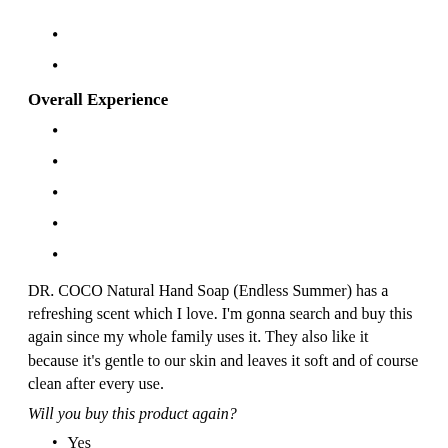Overall Experience
DR. COCO Natural Hand Soap (Endless Summer) has a refreshing scent which I love. I'm gonna search and buy this again since my whole family uses it. They also like it because it's gentle to our skin and leaves it soft and of course clean after every use.
Will you buy this product again?
Yes
No
Maybe
mixanjho
Hair: Normal